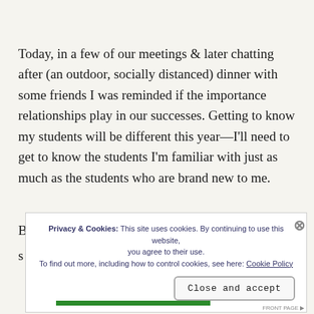Today, in a few of our meetings & later chatting after (an outdoor, socially distanced) dinner with some friends I was reminded if the importance relationships play in our successes. Getting to know my students will be different this year—I'll need to get to know the students I'm familiar with just as much as the students who are brand new to me.
B
s
Privacy & Cookies: This site uses cookies. By continuing to use this website, you agree to their use.
To find out more, including how to control cookies, see here: Cookie Policy
Close and accept